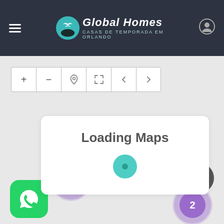[Figure (screenshot): Global Homes website header with dark background showing hamburger menu icon on left, Global Homes logo (teal circle with bird, italic text 'Global Homes' and subtitle 'CASAS DE TEMPORADA EM ORLANDO') in center, and user profile icon on right]
[Figure (screenshot): Map interface showing a light gray map with toolbar buttons (+, -, location pin, expand, back, forward), a white loading card with 'Loading Maps' text and teal spinner, two purple cluster badges (22 and 2), a dark scroll-to-top button, and a green WhatsApp button]